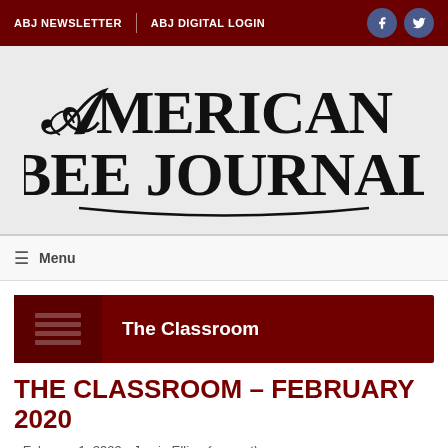ABJ NEWSLETTER | ABJ DIGITAL LOGIN
[Figure (logo): American Bee Journal logo in decorative serif font]
≡ Menu
The Classroom
THE CLASSROOM – FEBRUARY 2020
- February 1, 2020 - Jamie Ellis - (excerpt)